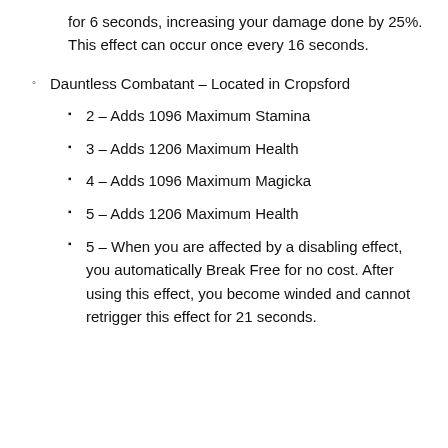for 6 seconds, increasing your damage done by 25%. This effect can occur once every 16 seconds.
Dauntless Combatant – Located in Cropsford
2 – Adds 1096 Maximum Stamina
3 – Adds 1206 Maximum Health
4 – Adds 1096 Maximum Magicka
5 – Adds 1206 Maximum Health
5 – When you are affected by a disabling effect, you automatically Break Free for no cost. After using this effect, you become winded and cannot retrigger this effect for 21 seconds.